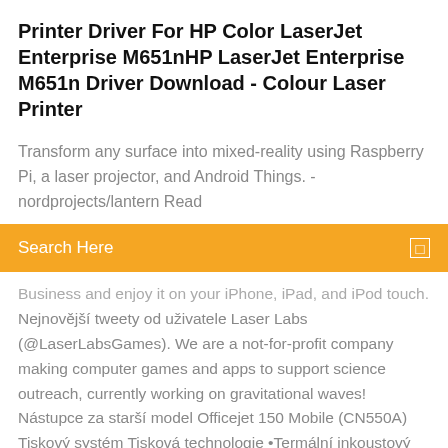Printer Driver For HP Color LaserJet Enterprise M651nHP LaserJet Enterprise M651n Driver Download - Colour Laser Printer
Transform any surface into mixed-reality using Raspberry Pi, a laser projector, and Android Things. - nordprojects/lantern Read
Search Here
Business and enjoy it on your iPhone, iPad, and iPod touch. Nejnovější tweety od uživatele Laser Labs (@LaserLabsGames). We are a not-for-profit company making computer games and apps to support science outreach, currently working on gravitational waves! Nástupce za starší model Officejet 150 Mobile (CN550A) Tiskový systém Tisková technologie •Termální inkoustový tisk HP Rychlost černobílého tisku (normální, A4) •Při síťovém napájení: až 10 str./m. laser technology - Free download as Word Doc (.doc), PDF File (.pdf), Text File (.txt) or read online for free. Laser teknolojisi